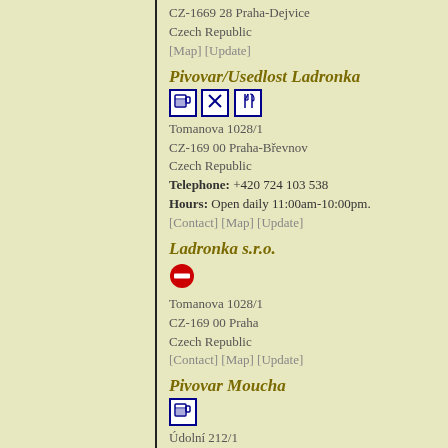CZ-1669 28 Praha-Dejvice
Czech Republic
[Map] [Update]
Pivovar/Usedlost Ladronka
[Figure (illustration): Three small icon boxes: beer mug, crossed tools, and fork-knife]
Tomanova 1028/1
CZ-169 00 Praha-Břevnov
Czech Republic
Telephone: +420 724 103 538
Hours: Open daily 11:00am-10:00pm.
[Contact] [Map] [Update]
Ladronka s.r.o.
[Figure (illustration): Red circle with horizontal white bar (no-entry sign)]
Tomanova 1028/1
CZ-169 00 Praha
Czech Republic
[Contact] [Map] [Update]
Pivovar Moucha
[Figure (illustration): One small icon box with beer mug symbol]
Údolní 212/1
CZ-147 00 Praha
Czech Republic
Telephone: +420 777 31 00 91
Hours: Monday-Friday 11:00am-6:00pm.
Brewer: Daniela Tallová
[Contact] [Map] [Update]